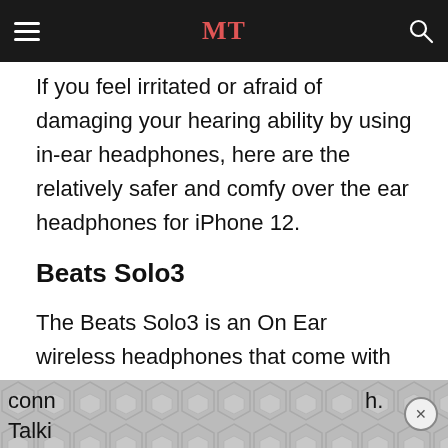MT
If you feel irritated or afraid of damaging your hearing ability by using in-ear headphones, here are the relatively safer and comfy over the ear headphones for iPhone 12.
Beats Solo3
The Beats Solo3 is an On Ear wireless headphones that come with the Apple W1 chipset. With Bluetooth 5.0 and the W1 chipset, you can connect your iPhones within a jiffy. It also recognizes and auto conn[ects]... Talki[ng about battery life]...